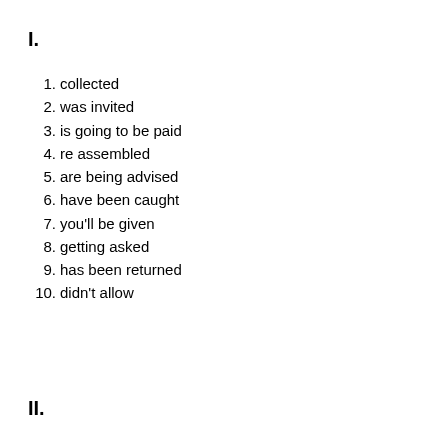I.
1. collected
2. was invited
3. is going to be paid
4. re assembled
5. are being advised
6. have been caught
7. you'll be given
8. getting asked
9. has been returned
10. didn't allow
II.